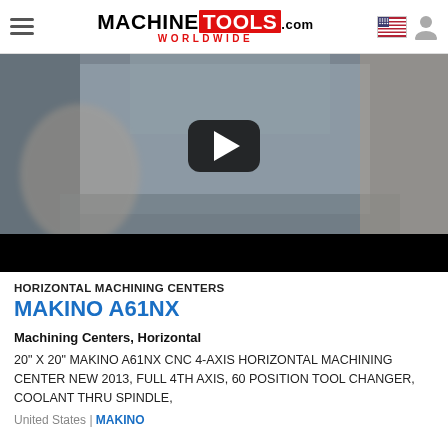MACHINE TOOLS .com WORLDWIDE
[Figure (screenshot): Video thumbnail of a horizontal machining center interior with a YouTube-style play button overlay and black letterbox bar at bottom.]
HORIZONTAL MACHINING CENTERS
MAKINO A61NX
Machining Centers, Horizontal
20" X 20" MAKINO A61NX CNC 4-AXIS HORIZONTAL MACHINING CENTER NEW 2013, FULL 4TH AXIS, 60 POSITION TOOL CHANGER, COOLANT THRU SPINDLE,
United States | MAKINO